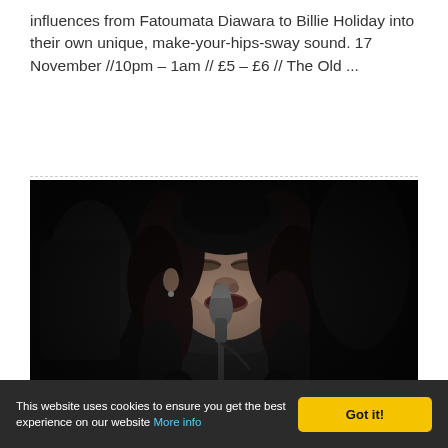influences from Fatoumata Diawara to Billie Holiday into their own unique, make-your-hips-sway sound. 17 November //10pm – 1am // £5 – £6 // The Old ...
[Figure (photo): Black and white photograph of a young woman with curly hair singing into a microphone, eyes closed, in a dark venue setting.]
This website uses cookies to ensure you get the best experience on our website More info | Got it!